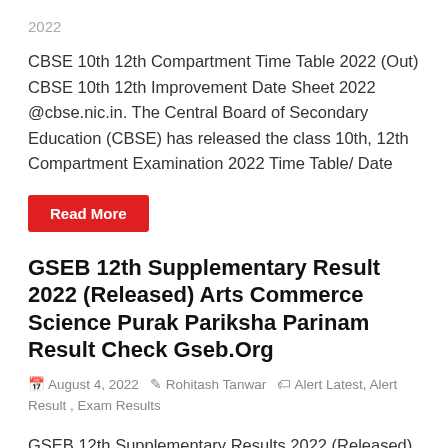2022
CBSE 10th 12th Compartment Time Table 2022 (Out) CBSE 10th 12th Improvement Date Sheet 2022 @cbse.nic.in. The Central Board of Secondary Education (CBSE) has released the class 10th, 12th Compartment Examination 2022 Time Table/ Date
Read More
GSEB 12th Supplementary Result 2022 (Released) Arts Commerce Science Purak Pariksha Parinam Result Check Gseb.Org
August 4, 2022  Rohitash Tanwar  Alert Latest, Alert Result , Exam Results
GSEB 12th Supplementary Results 2022 (Released)